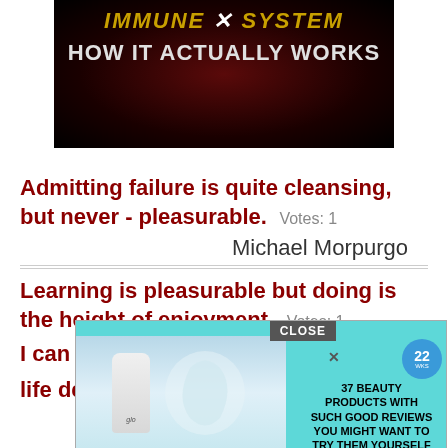[Figure (screenshot): Video thumbnail with dark red background showing text 'IMMUNE X SYSTEM HOW IT ACTUALLY WORKS']
Admitting failure is quite cleansing, but never - pleasurable.  Votes: 1
Michael Morpurgo
Learning is pleasurable but doing is the height of enjoyment.  Votes: 1
[Figure (screenshot): Advertisement overlay with teal background showing beauty products, '22' badge, and text '37 BEAUTY PRODUCTS WITH SUCH GOOD REVIEWS YOU MIGHT WANT TO TRY THEM YOURSELF', with a CLOSE button]
I can ... n a life de...